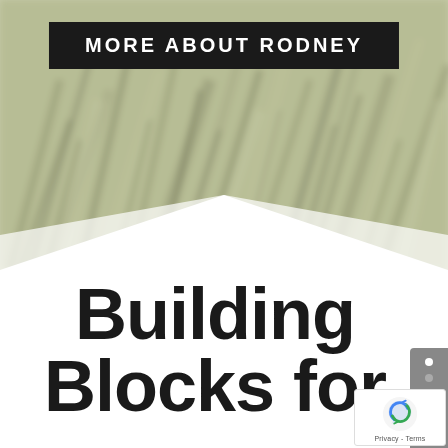[Figure (photo): Blurred green grass background image with olive/grey tones, filling the top portion of the page with a white chevron/V-shape cutout at the bottom]
MORE ABOUT RODNEY
Building Blocks for